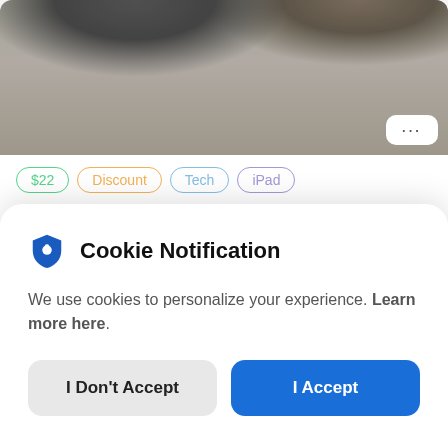[Figure (photo): Top portion of a product/article listing showing a dark device on a wooden surface, partially cropped]
$22
Discount
Tech
iPad
nedrelow Magnetic Smart Folio for iPad Air and Pro
7 days ago by Genevieve
[Figure (photo): Partially visible next article image, blurred gray background with green circle icon]
Cookie Notification
We use cookies to personalize your experience. Learn more here.
I Don't Accept
I Accept